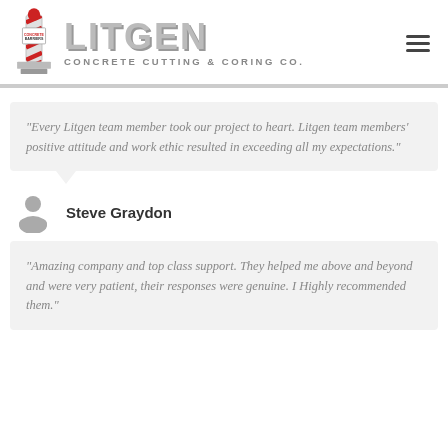LITGEN CONCRETE CUTTING & CORING CO.
“Every Litgen team member took our project to heart. Litgen team members’ positive attitude and work ethic resulted in exceeding all my expectations.”
Steve Graydon
“Amazing company and top class support. They helped me above and beyond and were very patient, their responses were genuine. I Highly recommended them.”